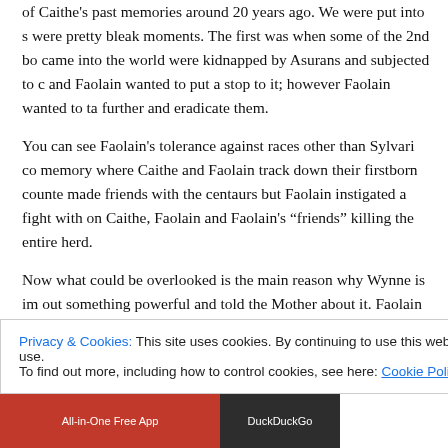of Caithe's past memories around 20 years ago. We were put into some pretty bleak moments. The first was when some of the 2nd born Sylvari came into the world were kidnapped by Asurans and subjected to cruel tests and Faolain wanted to put a stop to it; however Faolain wanted to take it further and eradicate them.
You can see Faolain's tolerance against races other than Sylvari comes from a memory where Caithe and Faolain track down their firstborn counterparts who made friends with the centaurs but Faolain instigated a fight with one causing Caithe, Faolain and Faolain's "friends" killing the entire herd.
Now what could be overlooked is the main reason why Wynne is imprisoned. She found out something powerful and told the Mother about it. Faolain overheard this and felt Wynne and the Mother were keeping this power to themselves. Hence why she is in the Silverwastes. This "power" by the way the Mother phrase it as it co...
Privacy & Cookies: This site uses cookies. By continuing to use this website, you agree to their use.
To find out more, including how to control cookies, see here: Cookie Policy